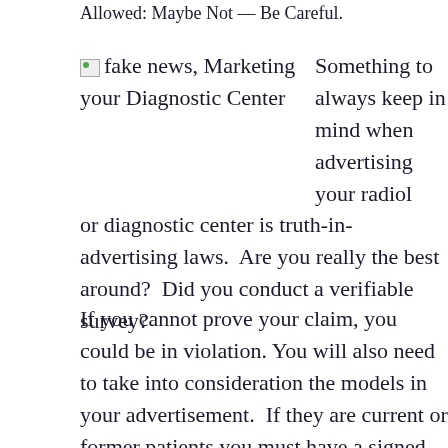Allowed: Maybe Not — Be Careful.
[Figure (photo): Broken image icon labeled 'fake news, Marketing your Diagnostic Center']
Something to always keep in mind when advertising your radiology or diagnostic center is truth-in-advertising laws. Are you really the best around? Did you conduct a verifiable survey?
If you cannot prove your claim, you could be in violation. You will also need to take into consideration the models in your advertisement. If they are current or former patients you must have a signed release granting permission, otherwise, you could be faced with a HIPAA violation.